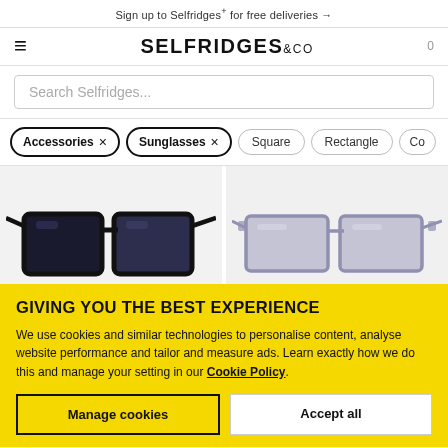Sign up to Selfridges+ for free deliveries →
SELFRIDGES &CO
Search Selfridges...
Accessories ×
Sunglasses ×
Square
Rectangle
[Figure (photo): Two product images of sunglasses on grey background. Left: black square-frame sunglasses. Right: crystal/grey rectangular sunglasses.]
GIVING YOU THE BEST EXPERIENCE
We use cookies and similar technologies to personalise content, analyse website performance and tailor and measure ads. Learn exactly how we do this and manage your setting in our Cookie Policy.
Manage cookies
Accept all